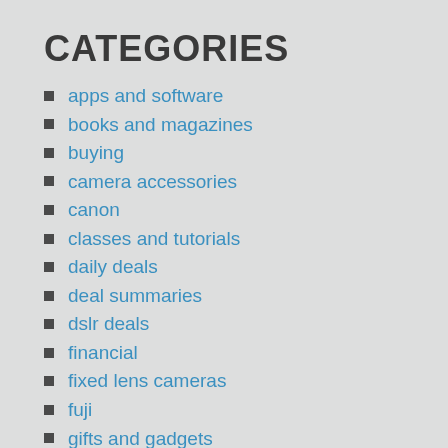CATEGORIES
apps and software
books and magazines
buying
camera accessories
canon
classes and tutorials
daily deals
deal summaries
dslr deals
financial
fixed lens cameras
fuji
gifts and gadgets
leica
lighting deals
memory cards and storage
MF LF and Digital Backs
mirrorless deals
nikon
olympus